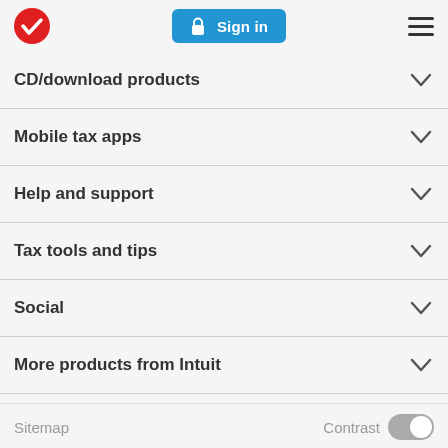TurboTax logo | Sign in | Menu
CD/download products
Mobile tax apps
Help and support
Tax tools and tips
Social
More products from Intuit
Sitemap   Contrast [toggle]